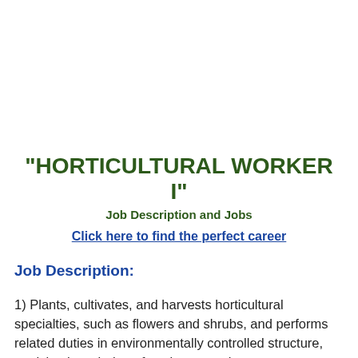"HORTICULTURAL WORKER I"
Job Description and Jobs
Click here to find the perfect career
Job Description:
1) Plants, cultivates, and harvests horticultural specialties, such as flowers and shrubs, and performs related duties in environmentally controlled structure, applying knowledge of environmental systems: Ascertains growing schedules and